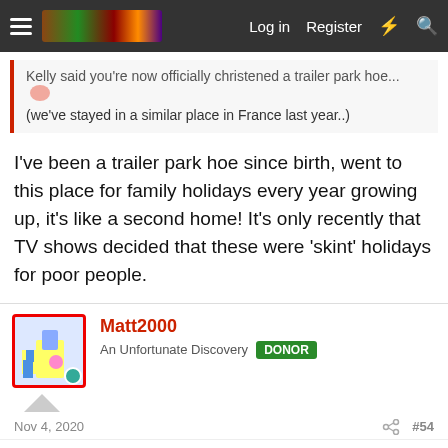Log in | Register
Kelly said you're now officially christened a trailer park hoe...
(we've stayed in a similar place in France last year..)
I've been a trailer park hoe since birth, went to this place for family holidays every year growing up, it's like a second home! It's only recently that TV shows decided that these were 'skint' holidays for poor people.
Matt2000
An Unfortunate Discovery  DONOR
Nov 4, 2020  #54
New boots fitted today. They feel great, ride is a little bit smoother as you would expect. Not had the chance to try any fast road handling but I don't want to wear them out straight away. We're getting freezing temperatures at night now so I think the timing was right, also wanted them on before the new lockdown that starts tomorrow.